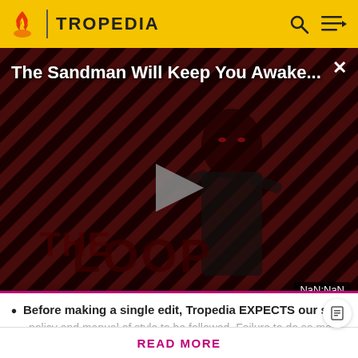TROPEDIA
[Figure (screenshot): Video thumbnail for 'The Sandman Will Keep You Awake...' showing a dark figure against a red and black diagonal striped background with a play button overlay and 'THE LOOP' text at the bottom. Time display shows NaN:NaN.]
Death Eaters are significant villains in their own right, but most are basically masks with names, albeit
Before making a single edit, Tropedia EXPECTS our site policy and manual of style to be followed. Failure to do so may
READ MORE